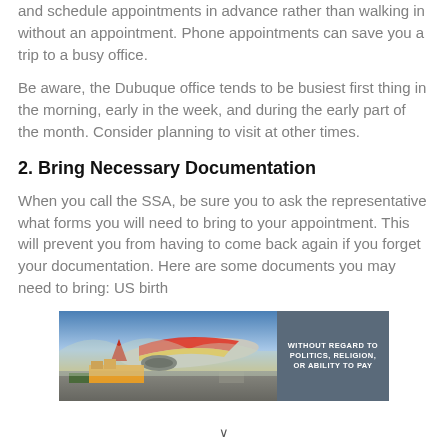and schedule appointments in advance rather than walking in without an appointment. Phone appointments can save you a trip to a busy office.
Be aware, the Dubuque office tends to be busiest first thing in the morning, early in the week, and during the early part of the month. Consider planning to visit at other times.
2. Bring Necessary Documentation
When you call the SSA, be sure you to ask the representative what forms you will need to bring to your appointment. This will prevent you from having to come back again if you forget your documentation. Here are some documents you may need to bring: US birth
[Figure (photo): Advertisement banner showing an airplane being loaded with cargo on a tarmac, with text overlay reading 'WITHOUT REGARD TO POLITICS, RELIGION, OR ABILITY TO PAY']